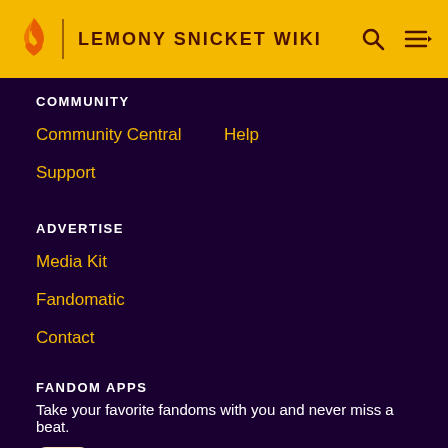LEMONY SNICKET WIKI
COMMUNITY
Community Central
Help
Support
ADVERTISE
Media Kit
Fandomatic
Contact
FANDOM APPS
Take your favorite fandoms with you and never miss a beat.
[Figure (other): App store badges: Fandom news app icon and Download on the App Store button]